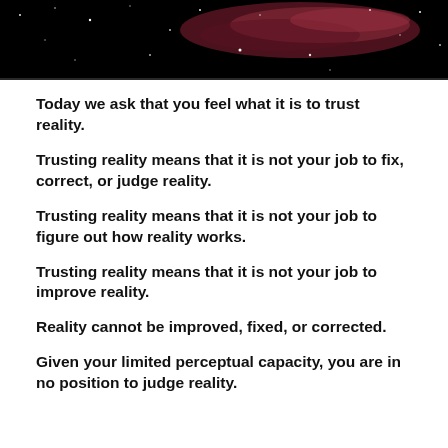[Figure (photo): Partial view of a deep space galaxy image with stars and nebula on a dark background]
Today we ask that you feel what it is to trust reality.
Trusting reality means that it is not your job to fix, correct, or judge reality.
Trusting reality means that it is not your job to figure out how reality works.
Trusting reality means that it is not your job to improve reality.
Reality cannot be improved, fixed, or corrected.
Given your limited perceptual capacity, you are in no position to judge reality.